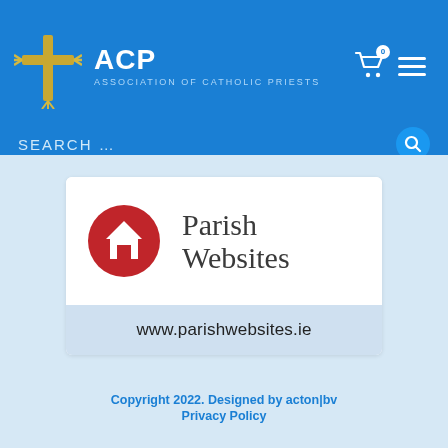ACP – ASSOCIATION OF CATHOLIC PRIESTS
[Figure (logo): ACP Association of Catholic Priests logo with decorative cross and shopping cart icon with badge showing 0, and hamburger menu icon]
SEARCH ...
[Figure (logo): Parish Websites logo: red circle with white house icon, text 'Parish Websites']
www.parishwebsites.ie
Copyright 2022. Designed by acton|bv
Privacy Policy